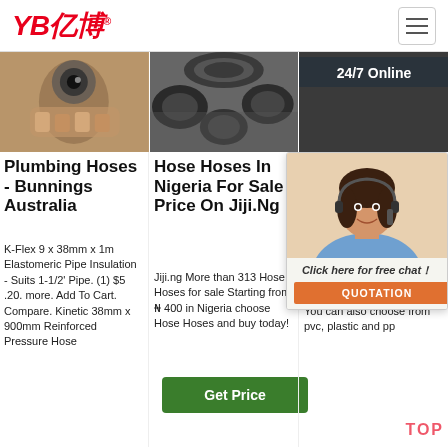YB亿博® logo and navigation hamburger menu
[Figure (photo): Hand holding a rubber pipe/hose fitting, brown background]
[Figure (photo): Multiple black rubber hoses/pipes stacked together]
[Figure (photo): Dark background with '24/7 Online' text banner]
Plumbing Hoses - Bunnings Australia
K-Flex 9 x 38mm x 1m Elastomeric Pipe Insulation - Suits 1-1/2' Pipe. (1) $5 .20. more. Add To Cart. Compare. Kinetic 38mm x 900mm Reinforced Pressure Hose
Hose Hoses In Nigeria For Sale Price On Jiji.Ng
Jiji.ng More than 313 Hose Hoses for sale Starting from ₦ 400 in Nigeria choose Hose Hoses and buy today!
[Figure (other): Green 'Get Price' button]
High Pressure Car Washing Pipe
A wide variety of high pressure car washing pipe options are available to you, such as graphic design. You can also choose from pvc, plastic and pp
[Figure (other): Chat widget with 24/7 Online agent, Click here for free chat, QUOTATION button]